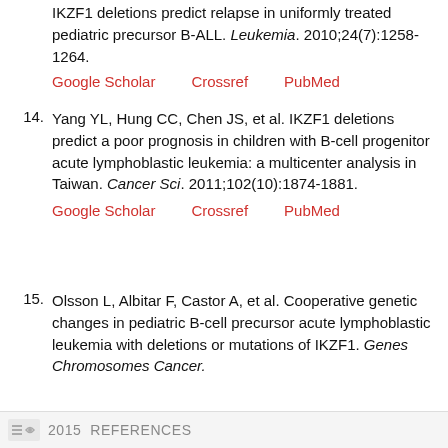IKZF1 deletions predict relapse in uniformly treated pediatric precursor B-ALL. Leukemia. 2010;24(7):1258-1264.
Google Scholar   Crossref   PubMed
14. Yang YL, Hung CC, Chen JS, et al. IKZF1 deletions predict a poor prognosis in children with B-cell progenitor acute lymphoblastic leukemia: a multicenter analysis in Taiwan. Cancer Sci. 2011;102(10):1874-1881.
Google Scholar   Crossref   PubMed
15. Olsson L, Albitar F, Castor A, et al. Cooperative genetic changes in pediatric B-cell precursor acute lymphoblastic leukemia with deletions or mutations of IKZF1. Genes Chromosomes Cancer.
2015  REFERENCES